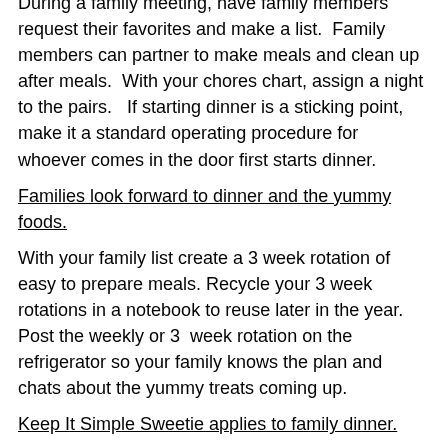During a family meeting, have family members request their favorites and make a list.  Family members can partner to make meals and clean up after meals.  With your chores chart, assign a night to the pairs.   If starting dinner is a sticking point, make it a standard operating procedure for whoever comes in the door first starts dinner.
Families look forward to dinner and the yummy foods.
With your family list create a 3 week rotation of easy to prepare meals. Recycle your 3 week rotations in a notebook to reuse later in the year.  Post the weekly or 3  week rotation on the refrigerator so your family knows the plan and chats about the yummy treats coming up.
Keep It Simple Sweetie applies to family dinner.
It is about gathering together, not culinary creativity.  Sandwiches, breakfast food, and crock pot dinners are all great ways to get dinner done.  Affordable healthy take out from fast food restaurants can be a part of the plan too.
Family traditions start with dinner time.
Friday night can be frozen pizza night, Sunday is Dad's Grill